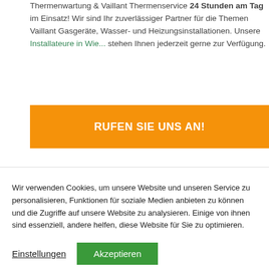Thermenwartung & Vaillant Thermenservice 24 Stunden am Tag im Einsatz! Wir sind Ihr zuverlässiger Partner für die Themen Vaillant Gasgeräte, Wasser- und Heizungsinstallationen. Unsere Installateure in Wien stehen Ihnen jederzeit gerne zur Verfügung.
RUFEN SIE UNS AN!
Wir verwenden Cookies, um unsere Website und unseren Service zu personalisieren, Funktionen für soziale Medien anbieten zu können und die Zugriffe auf unsere Website zu analysieren. Einige von ihnen sind essenziell, andere helfen, diese Website für Sie zu optimieren.
Einstellungen
Akzeptieren